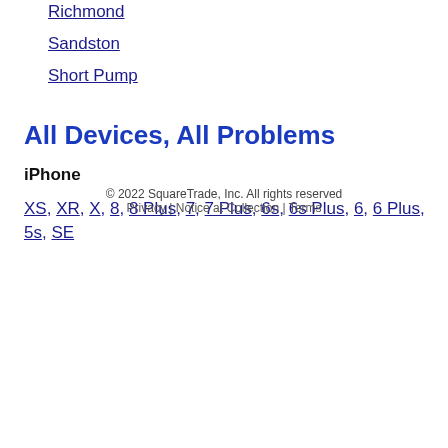Richmond
Sandston
Short Pump
All Devices, All Problems
iPhone
XS, XR, X, 8, 8 Plus, 7, 7 Plus, 6s, 6s Plus, 6, 6 Plus, 5s, SE
© 2022 SquareTrade, Inc. All rights reserved
Privacy | Notice at Collection | Terms